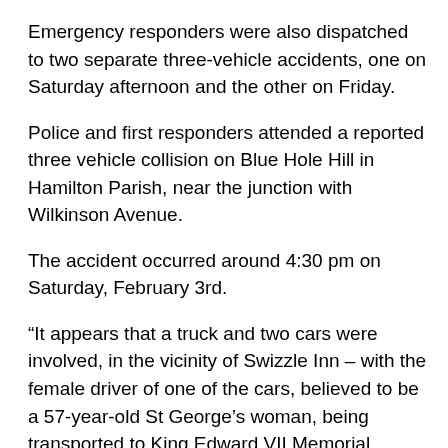Emergency responders were also dispatched to two separate three-vehicle accidents, one on Saturday afternoon and the other on Friday.
Police and first responders attended a reported three vehicle collision on Blue Hole Hill in Hamilton Parish, near the junction with Wilkinson Avenue.
The accident occurred around 4:30 pm on Saturday, February 3rd.
“It appears that a truck and two cars were involved, in the vicinity of Swizzle Inn – with the female driver of one of the cars, believed to be a 57-year-old St George’s woman, being transported to King Edward VII Memorial Hospital via ambulance as a precaution.
“There were no other injuries reported and at last check